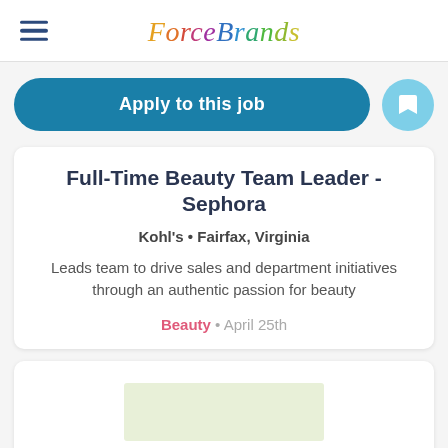ForceBrands
Apply to this job
Full-Time Beauty Team Leader - Sephora
Kohl's • Fairfax, Virginia
Leads team to drive sales and department initiatives through an authentic passion for beauty
Beauty • April 25th
[Figure (other): Advertisement placeholder with light green background]